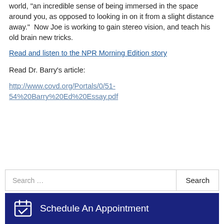world, "an incredible sense of being immersed in the space around you, as opposed to looking in on it from a slight distance away."  Now Joe is working to gain stereo vision, and teach his old brain new tricks.
Read and listen to the NPR Morning Edition story
Read Dr. Barry's article:
http://www.covd.org/Portals/0/51-54%20Barry%20Ed%20Essay.pdf
Search ...
Schedule An Appointment